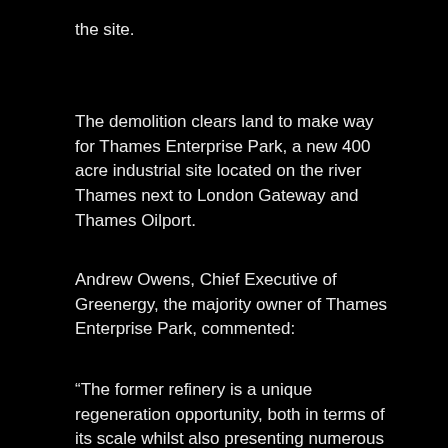the site.
The demolition clears land to make way for Thames Enterprise Park, a new 400 acre industrial site located on the river Thames next to London Gateway and Thames Oilport.
Andrew Owens, Chief Executive of Greenergy, the majority owner of Thames Enterprise Park, commented:
“The former refinery is a unique regeneration opportunity, both in terms of its scale whilst also presenting numerous challenges…